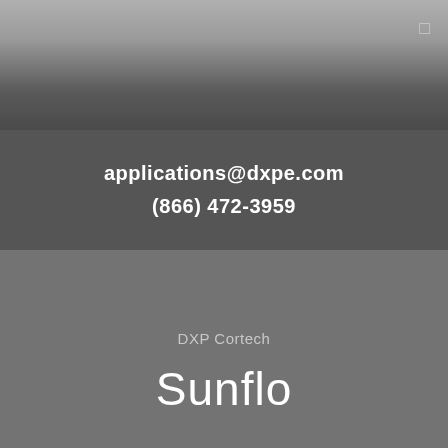applications@dxpe.com
(866) 472-3959
DXP Cortech
Sunflo